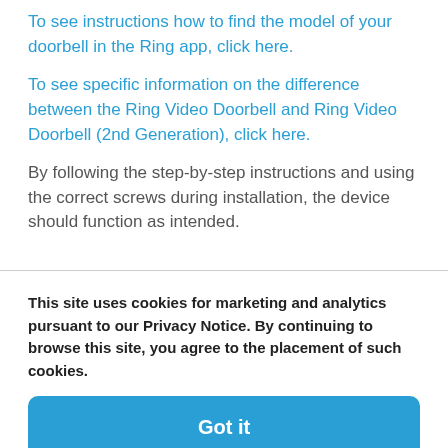To see instructions how to find the model of your doorbell in the Ring app, click here.
To see specific information on the difference between the Ring Video Doorbell and Ring Video Doorbell (2nd Generation), click here.
By following the step-by-step instructions and using the correct screws during installation, the device should function as intended.
This site uses cookies for marketing and analytics pursuant to our Privacy Notice. By continuing to browse this site, you agree to the placement of such cookies.
Got it
Manage Settings